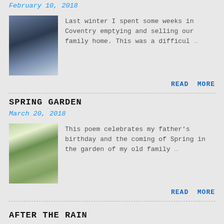February 10, 2018
[Figure (photo): Bare winter tree branches against a blue sky, silhouetted]
Last winter I spent some weeks in Coventry emptying and selling our family home. This was a difficul …
READ MORE
SPRING GARDEN
March 20, 2018
[Figure (photo): A garden path with lush green spring vegetation on either side, sunlight filtering through]
This poem celebrates my father's birthday and the coming of Spring in the garden of my old family …
READ MORE
AFTER THE RAIN